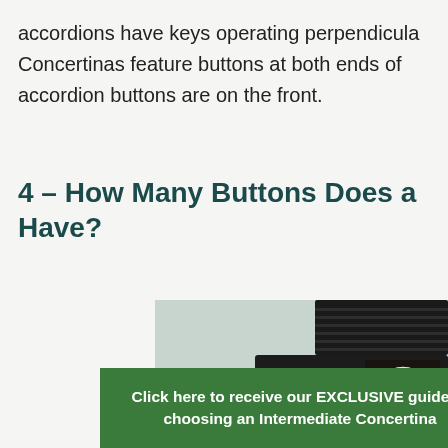accordions have keys operating perpendicula... Concertinas feature buttons at both ends of ... accordion buttons are on the front.
4 – How Many Buttons Does a... Have?
[Figure (photo): A close-up photo of a concertina instrument showing its ornate end plate with decorative scrollwork and button mechanism, against a light green-grey background.]
Click here to receive our EXCLUSIVE guide to choosing an Intermediate Concertina